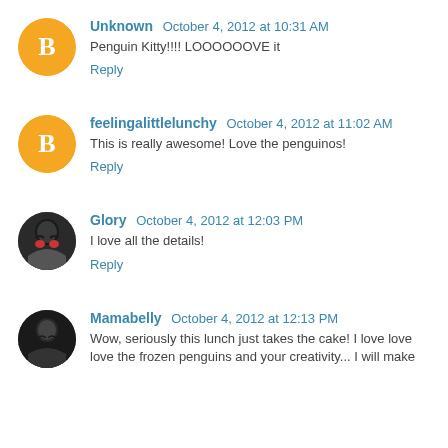Unknown  October 4, 2012 at 10:31 AM
Penguin Kitty!!!! LOOOOOOVE it
Reply
feelingalittlelunchy  October 4, 2012 at 11:02 AM
This is really awesome! Love the penguinos!
Reply
Glory  October 4, 2012 at 12:03 PM
I love all the details!
Reply
Mamabelly  October 4, 2012 at 12:13 PM
Wow, seriously this lunch just takes the cake! I love love love the frozen penguins and your creativity... I will make